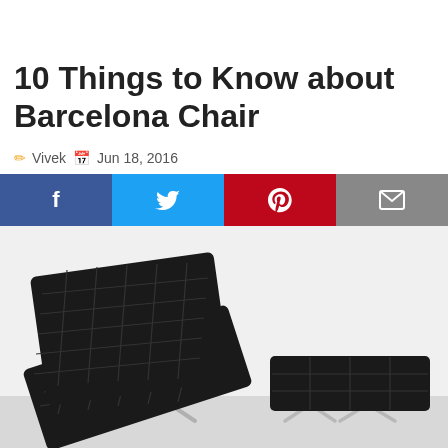10 Things to Know about Barcelona Chair
Vivek  Jun 18, 2016
[Figure (other): Social share buttons: Facebook (blue), Twitter (light blue), Pinterest (red), Email (grey)]
[Figure (photo): Black leather Barcelona chair with tufted cushions and chrome X-frame legs, accompanied by a matching ottoman, photographed against a white background]